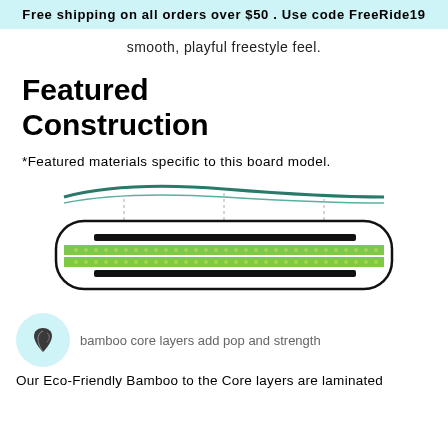Free shipping on all orders over $50 . Use code FreeRide19
smooth, playful freestyle feel.
Featured Construction
*Featured materials specific to this board model.
[Figure (illustration): Cross-section diagram of a snowboard showing layered construction: top profile view with rocker shape, and interior showing green bamboo/dotted layers and black carbon stringers.]
[Figure (illustration): Light blue circle with a feather/leaf icon representing eco-friendly bamboo material]
bamboo core layers add pop and strength
Our Eco-Friendly Bamboo to the Core layers are laminated